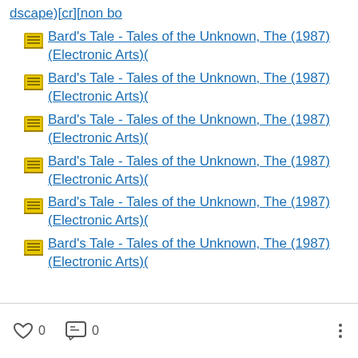dscape)[cr][non bo
Bard's Tale - Tales of the Unknown, The (1987)(Electronic Arts)(
Bard's Tale - Tales of the Unknown, The (1987)(Electronic Arts)(
Bard's Tale - Tales of the Unknown, The (1987)(Electronic Arts)(
Bard's Tale - Tales of the Unknown, The (1987)(Electronic Arts)(
Bard's Tale - Tales of the Unknown, The (1987)(Electronic Arts)(
Bard's Tale - Tales of the Unknown, The (1987)(Electronic Arts)(
0  0